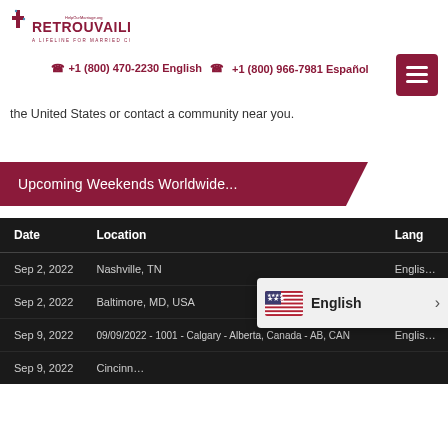[Figure (logo): Retrouvaille logo with cross and text 'HelpOurMarriage.org RETROUVAILLE A LIFELINE FOR MARRIED COUPLES']
☎ +1 (800) 470-2230 English ☎ +1 (800) 966-7981 Español
the United States or contact a community near you.
Upcoming Weekends Worldwide…
| Date | Location | Language |
| --- | --- | --- |
| Sep 2, 2022 | Nashville, TN | English |
| Sep 2, 2022 | Baltimore, MD, USA | English |
| Sep 9, 2022 | 09/09/2022 - 1001 - Calgary - Alberta, Canada - AB, CAN | English |